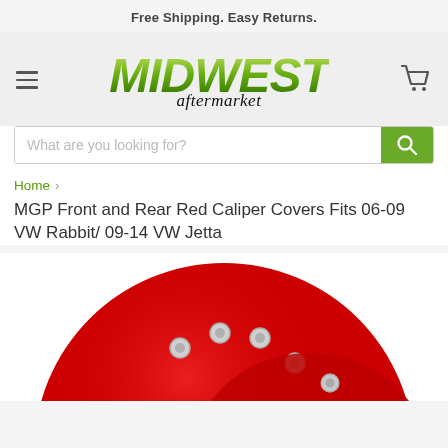Free Shipping. Easy Returns.
[Figure (logo): Midwest Aftermarket logo with green italic 'MIDWEST' text and cursive 'aftermarket' below]
[Figure (other): Search bar with placeholder 'What are you looking for?' and green search button with magnifying glass icon]
Home > MGP Front and Rear Red Caliper Covers Fits 06-09 VW Rabbit/ 09-14 VW Jetta
[Figure (photo): Red brake caliper covers product photo, partially visible at bottom of page]